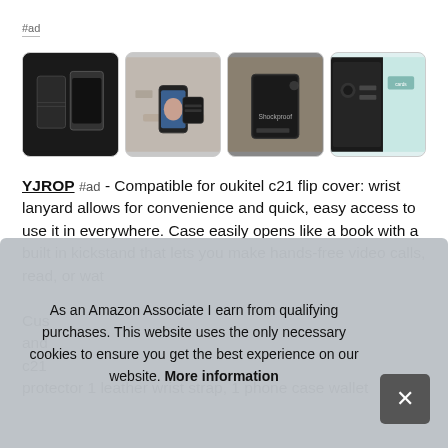#ad
[Figure (photo): Four product images of YJROP phone wallet case for Oukitel C21: (1) black leather wallet case standing closed and open, (2) hand holding phone with card wallet attachment in store, (3) black phone case on rocky ground showing shockproof label, (4) closeup of black wallet case open showing interior.]
YJROP #ad - Compatible for oukitel c21 flip cover: wrist lanyard allows for convenience and quick, easy access to use it in everywhere. Case easily opens like a book with a built in kickstand that lets you make hands-free video calls, read, or wat

Cus and c21
protector 1 leather wrist strap, 1 phone case wallet
As an Amazon Associate I earn from qualifying purchases. This website uses the only necessary cookies to ensure you get the best experience on our website. More information